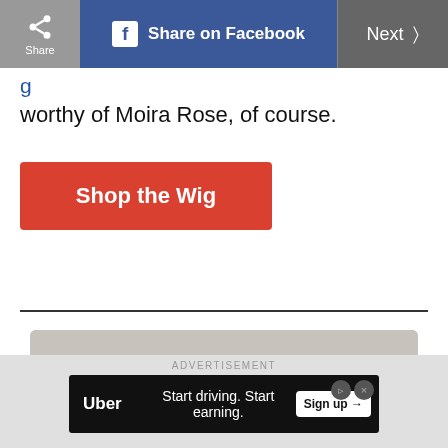Share | Share on Facebook | Next
worthy of Moira Rose, of course.
Shop the Wig
[Figure (photo): Woman wearing a red beret and dark cat-eye sunglasses with long brown hair, pearl earrings, and a white blazer with dark trim, posing against a grey wall]
ADVERTISEMENT
Uber   Start driving. Start earning.   Sign up →